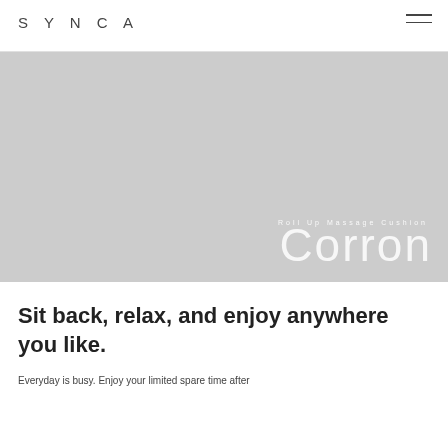SYNCA
[Figure (illustration): Large light gray hero banner image area for Roll Up Massage Cushion Corron product page. Contains overlaid text: 'Roll Up Massage Cushion' in small spaced lettering and 'Corron' in large light display font, both in white, positioned at bottom right.]
Sit back, relax, and enjoy anywhere you like.
Everyday is busy. Enjoy your limited spare time after